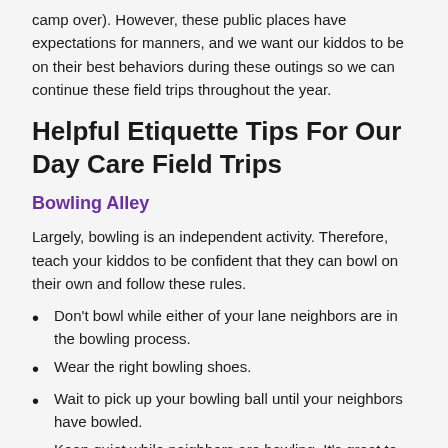camp over). However, these public places have expectations for manners, and we want our kiddos to be on their best behaviors during these outings so we can continue these field trips throughout the year.
Helpful Etiquette Tips For Our Day Care Field Trips
Bowling Alley
Largely, bowling is an independent activity. Therefore, teach your kiddos to be confident that they can bowl on their own and follow these rules.
Don't bowl while either of your lane neighbors are in the bowling process.
Wear the right bowling shoes.
Wait to pick up your bowling ball until your neighbors have bowled.
Keep quiet while neighbors are bowling. It's great to celebrate right after your shot, but don't shout and yell while others are trying to get that strike!
Don't eat or drink on the approach (the nice wood flooring